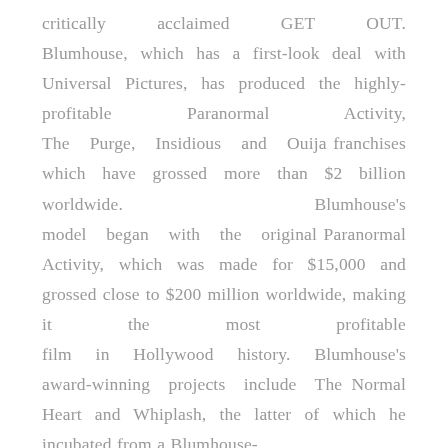critically acclaimed GET OUT. Blumhouse, which has a first-look deal with Universal Pictures, has produced the highly-profitable Paranormal Activity, The Purge, Insidious and Ouija franchises which have grossed more than $2 billion worldwide. Blumhouse's model began with the original Paranormal Activity, which was made for $15,000 and grossed close to $200 million worldwide, making it the most profitable film in Hollywood history. Blumhouse's award-winning projects include The Normal Heart and Whiplash, the latter of which he incubated from a Blumhouse-